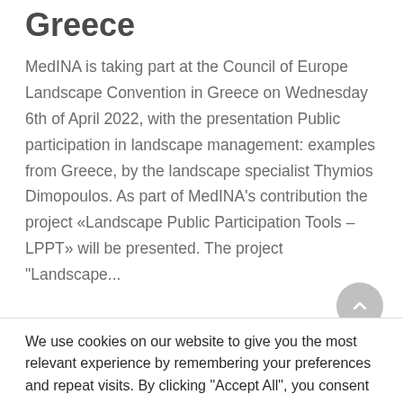Greece
MedINA is taking part at the Council of Europe Landscape Convention in Greece on Wednesday 6th of April 2022, with the presentation Public participation in landscape management: examples from Greece, by the landscape specialist Thymios Dimopoulos. As part of MedINA’s contribution the project «Landscape Public Participation Tools – LPPT» will be presented. The project “Landscape...
Read More
5 April, 2022
We use cookies on our website to give you the most relevant experience by remembering your preferences and repeat visits. By clicking “Accept All”, you consent